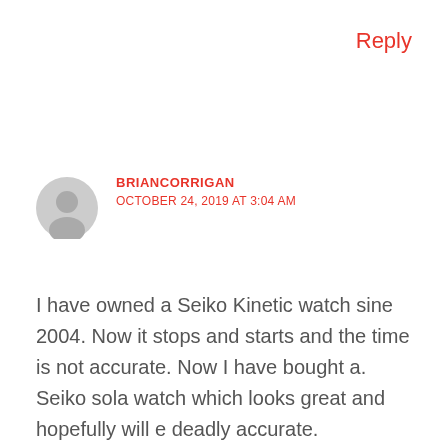Reply
BRIANCORRIGAN
OCTOBER 24, 2019 AT 3:04 AM
I have owned a Seiko Kinetic watch sine 2004. Now it stops and starts and the time is not accurate. Now I have bought a. Seiko sola watch which looks great and hopefully will e deadly accurate.